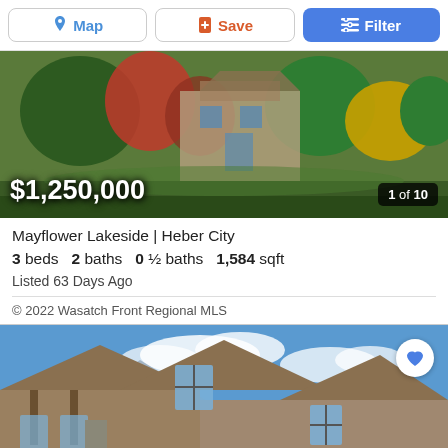[Figure (screenshot): Top navigation bar with Map, Save, and Filter buttons]
[Figure (photo): Exterior photo of a house with lush landscaping, red and green trees, showing price $1,250,000 and '1 of 10' counter]
Mayflower Lakeside | Heber City
3 beds   2 baths   0 ½ baths   1,584 sqft
Listed 63 Days Ago
© 2022 Wasatch Front Regional MLS
[Figure (photo): Exterior rendering of a multi-story mountain-style home with brown siding, large windows, blue sky with clouds, and a heart/favorite button in top right corner]